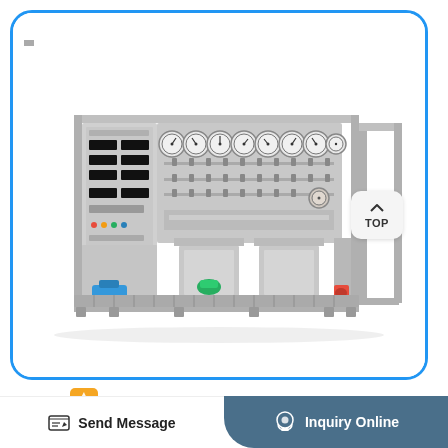[Figure (photo): Industrial fluid/gas test bench system with stainless steel frame, control panel with digital displays on the left, multiple pressure gauges along the top, valve manifolds in the middle section, and pump/motor assemblies at the bottom. The equipment appears to be a multi-position pressure or flow test stand.]
[Figure (logo): CE certification mark and a flame/fire safety certification logo in orange]
Send Message
Inquiry Online